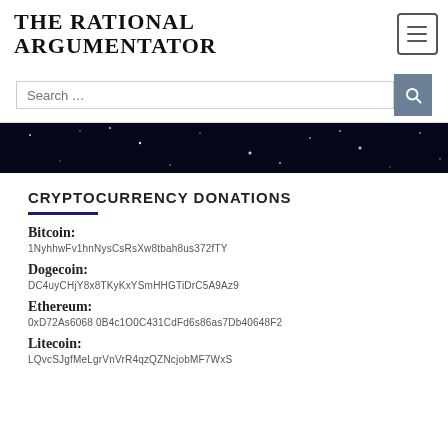THE RATIONAL ARGUMENTATOR
CRYPTOCURRENCY DONATIONS
Bitcoin:
1NyhhwFv1hnNysCsRsXw8tbah8us372fTY
Dogecoin:
DC4uyCHjY8x8TKyKxYSmHHGTiDrC5A9Az9
Ethereum:
0xD72As6068 0B4c1O0C431CdFd6s86as7Db40648F2
Litecoin:
LQvcSJgfMeLgrVnVrR4qzQZNcjobMF7WxS